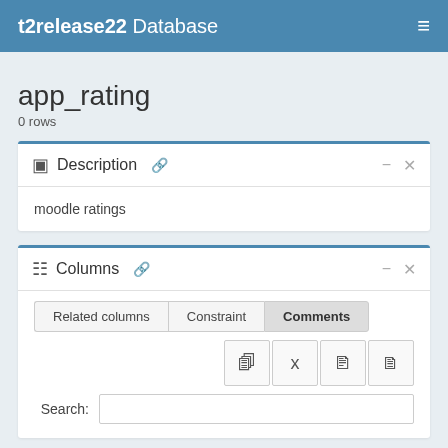t2release22 Database
app_rating
0 rows
Description
moodle ratings
Columns
Related columns	Constraint	Comments
Search: